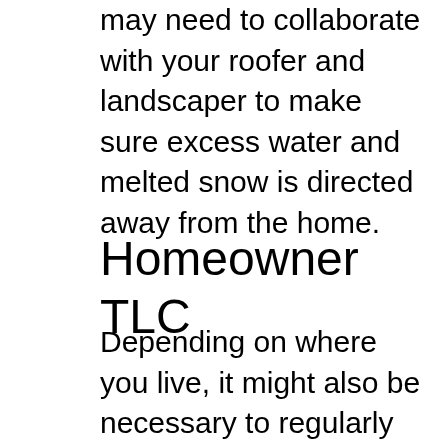may need to collaborate with your roofer and landscaper to make sure excess water and melted snow is directed away from the home.
Homeowner TLC
Depending on where you live, it might also be necessary to regularly sweep snow away from key parts of your home. Regular roof brushings, clearing snow away from window wells and making sure snow isn't gathering in gutters are all part of routine winter maintenance. This is especially true for homeowners with grated covers on window wells. Along with snow, debris such as fallen leaves can gather and lead to leaks and even